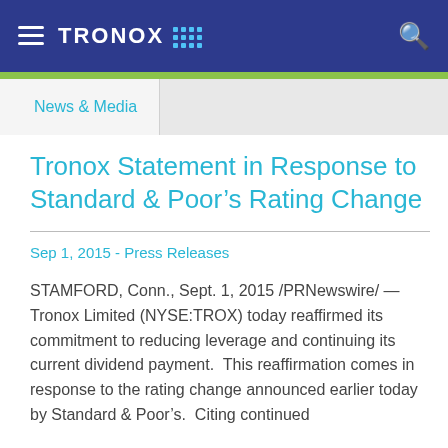TRONOX
News & Media
Tronox Statement in Response to Standard & Poor's Rating Change
Sep 1, 2015 - Press Releases
STAMFORD, Conn., Sept. 1, 2015 /PRNewswire/ — Tronox Limited (NYSE:TROX) today reaffirmed its commitment to reducing leverage and continuing its current dividend payment.  This reaffirmation comes in response to the rating change announced earlier today by Standard & Poor's.  Citing continued